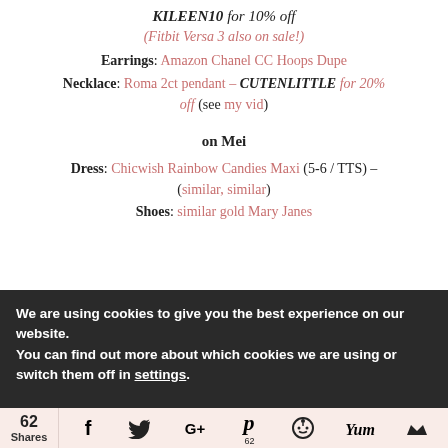KILEEN10 for 10% off
(Fitbit Versa 3 also on sale!)
Earrings: Amazon Chanel CC Hoops Dupe
Necklace: Roma 2ct pendant – CUTENLITTLE for 20% off (see my vid)
on Mei
Dress: Chicwish Rainbow Candies Maxi (5-6 / TTS) – (similar, similar)
Shoes: similar gold Mary Janes
[Figure (photo): Partial view of images strip at bottom of page]
We are using cookies to give you the best experience on our website.
You can find out more about which cookies we are using or switch them off in settings.
62 Shares — social share icons (Facebook, Twitter, Google+, Pinterest 62, Reddit, Yummly, other)